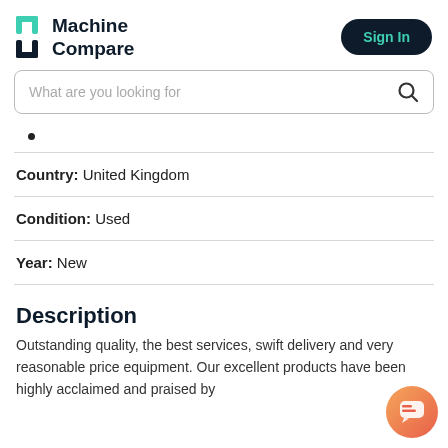Machine Compare — Sign In
[Figure (logo): Machine Compare logo with teal bracket icon and dark bold text]
What are you looking for
•
Country: United Kingdom
Condition: Used
Year: New
Description
Outstanding quality, the best services, swift delivery and very reasonable price equipment. Our excellent products have been highly acclaimed and praised by